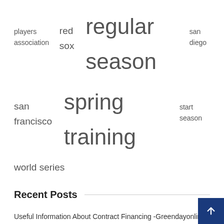players association  red sox  regular season  san diego  san francisco  spring training  start season  world series
Recent Posts
Useful Information About Contract Financing -Greendayonline
Orioles vs. Red Sox – SportsLogos.Net News
The Legion Baseball Player of the Year helped lead Alabama's 1st team to win the title since 1967
Former Kinesiology Student Opens Local Baseball and Softball Training Center – Jagwire
Dodgers News: Brewers scoreboard operator has fun with Will Smith – the Dodgers